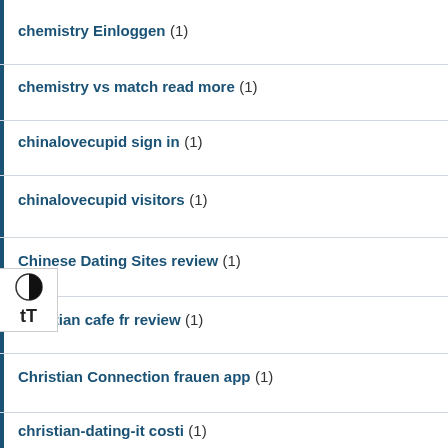chemistry Einloggen (1)
chemistry vs match read more (1)
chinalovecupid sign in (1)
chinalovecupid visitors (1)
Chinese Dating Sites review (1)
christian cafe fr review (1)
Christian Connection frauen app (1)
christian-dating-it costi (1)